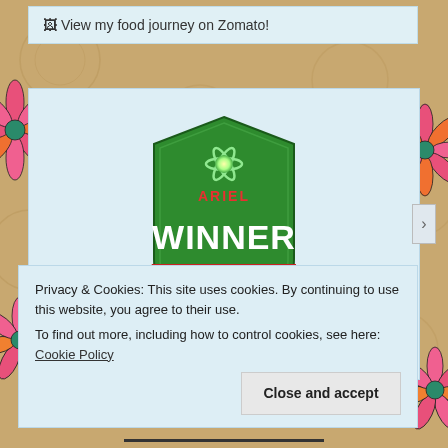[Figure (screenshot): Zomato banner with broken image icon and text 'View my food journey on Zomato!']
[Figure (logo): Ariel Winner badge: green shield shape with Ariel logo at top, text WINNER in large white letters, red ribbon banner with PRIYANKA ROY BANERJEE, and blogadda text at bottom with stars]
Privacy & Cookies: This site uses cookies. By continuing to use this website, you agree to their use.
To find out more, including how to control cookies, see here: Cookie Policy
Close and accept